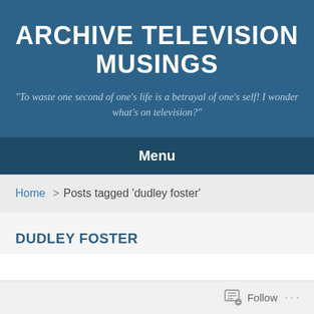ARCHIVE TELEVISION MUSINGS
"To waste one second of one's life is a betrayal of one's self! I wonder what's on television?"
Menu
Home > Posts tagged 'dudley foster'
DUDLEY FOSTER
Follow ...